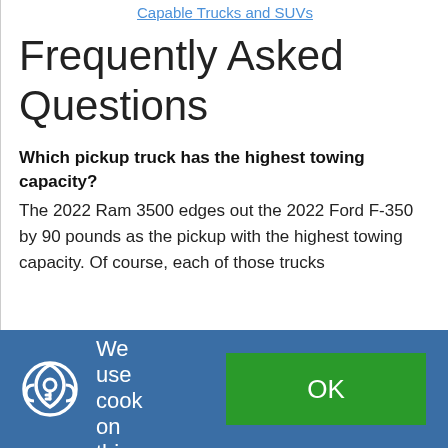Capable Trucks and SUVs
Frequently Asked Questions
Which pickup truck has the highest towing capacity?
The 2022 Ram 3500 edges out the 2022 Ford F-350 by 90 pounds as the pickup with the highest towing capacity. Of course, each of those trucks
We use cook on this site
OK